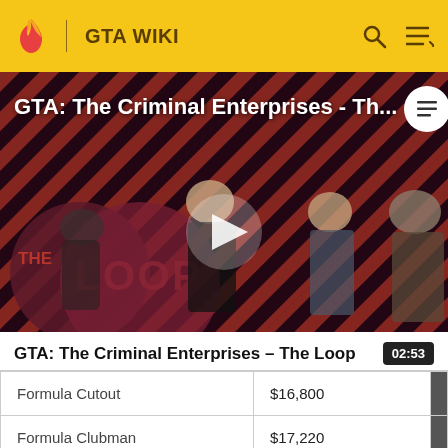GTA WIKI
[Figure (screenshot): GTA: The Criminal Enterprises - The Loop video thumbnail showing game characters on a red and black diagonal striped background with The Loop logo overlay and a play button in the center]
GTA: The Criminal Enterprises - The Loop
| Formula Cutout | $16,800 |  |
| Formula Clubman | $17,220 |  |